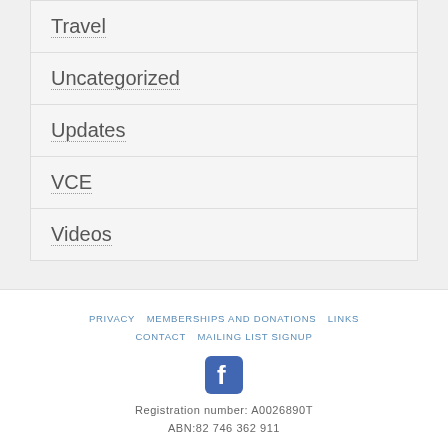Travel
Uncategorized
Updates
VCE
Videos
PRIVACY   MEMBERSHIPS AND DONATIONS   LINKS   CONTACT   MAILING LIST SIGNUP
Registration number: A0026890T
ABN:82 746 362 911